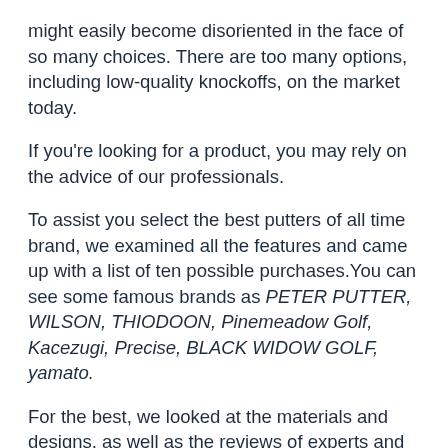might easily become disoriented in the face of so many choices. There are too many options, including low-quality knockoffs, on the market today.
If you're looking for a product, you may rely on the advice of our professionals.
To assist you select the best putters of all time brand, we examined all the features and came up with a list of ten possible purchases.You can see some famous brands as PETER PUTTER, WILSON, THIODOON, Pinemeadow Golf, Kacezugi, Precise, BLACK WIDOW GOLF, yamato.
For the best, we looked at the materials and designs, as well as the reviews of experts and customers to find the best putters of all time
Detailed performance data and recommendations